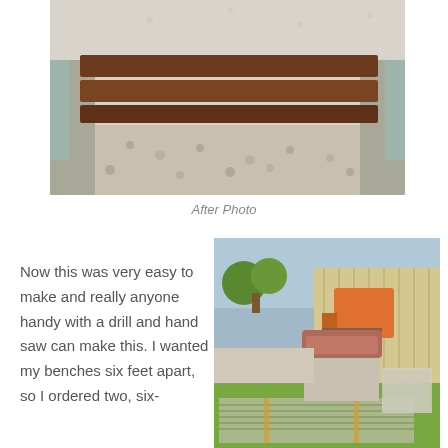[Figure (photo): After photo of a wooden bench with dark-stained lumber planks set between two concrete supports with tiled sides, surrounded by white gravel.]
After Photo
[Figure (photo): Photo of building materials delivered to a backyard: bundled treated lumber planks on the ground, stacked concrete blocks with bagged material on top, and a wrapped pallet. A forklift is visible in the background near a wooden fence.]
Now this was very easy to make and really anyone handy with a drill and hand saw can make this. I wanted my benches six feet apart, so I ordered two, six-